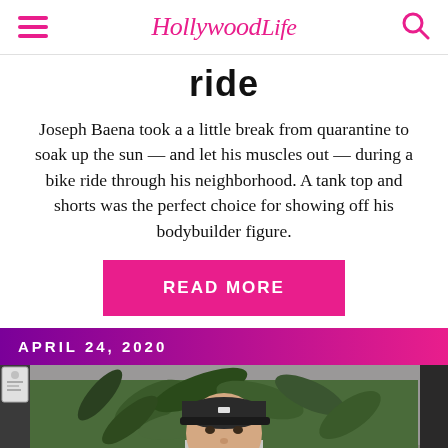Hollywood Life
ride
Joseph Baena took a a little break from quarantine to soak up the sun — and let his muscles out — during a bike ride through his neighborhood. A tank top and shorts was the perfect choice for showing off his bodybuilder figure.
READ MORE
APRIL 24, 2020
[Figure (photo): Man wearing a black baseball cap and gray t-shirt with 'Elite Orthodontics' text, standing outdoors in front of tropical plants]